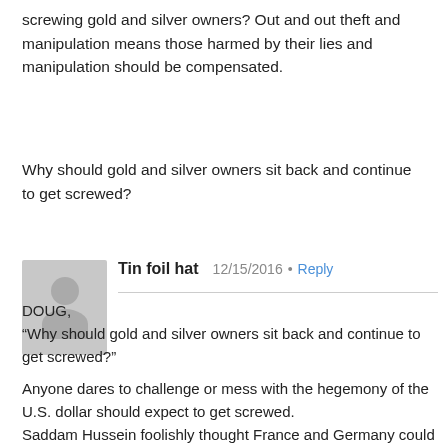screwing gold and silver owners? Out and out theft and manipulation means those harmed by their lies and manipulation should be compensated.
Why should gold and silver owners sit back and continue to get screwed?
Tin foil hat  12/15/2016 • Reply
DOUG,
"Why should gold and silver owners sit back and continue to get screwed?"

Anyone dares to challenge or mess with the hegemony of the U.S. dollar should expect to get screwed.
Saddam Hussein foolishly thought France and Germany could protect him from selling his oil in euro instead of the dollar – he got screwed.
Gaddafi didn't know what he was messing around with. He believed we need him to keep Al Queda